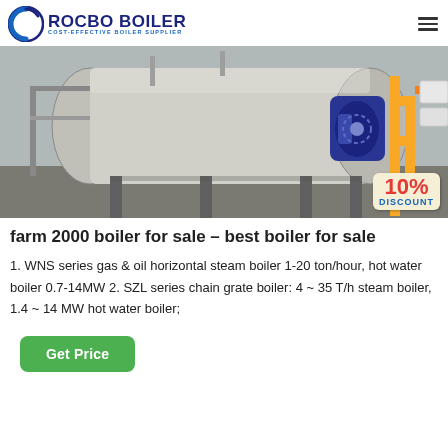ROCBO BOILER – COST-EFFECTIVE BOILER SUPPLIER
[Figure (photo): Industrial boiler unit in facility with yellow pipes and blue motor attachment; 10% DISCOUNT badge overlay in bottom right corner]
farm 2000 boiler for sale – best boiler for sale
1. WNS series gas & oil horizontal steam boiler 1-20 ton/hour, hot water boiler 0.7-14MW 2. SZL series chain grate boiler: 4 ~ 35 T/h steam boiler, 1.4 ~ 14 MW hot water boiler;
Get Price